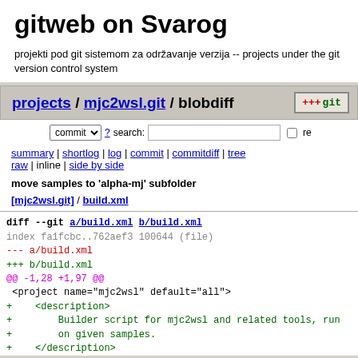gitweb on Svarog
projekti pod git sistemom za održavanje verzija -- projects under the git version control system
projects / mjc2wsl.git / blobdiff
commit  ? search:  re
summary | shortlog | log | commit | commitdiff | tree raw | inline | side by side
move samples to 'alpha-mj' subfolder
[mjc2wsl.git] / build.xml
diff --git a/build.xml b/build.xml
index fa1fcbc..762aef3 100644 (file)
--- a/build.xml
+++ b/build.xml
@@ -1,28 +1,97 @@
 <project name="mjc2wsl" default="all">
+    <description>
+        Builder script for mjc2wsl and related tools, run
+        on given samples.
+    </description>